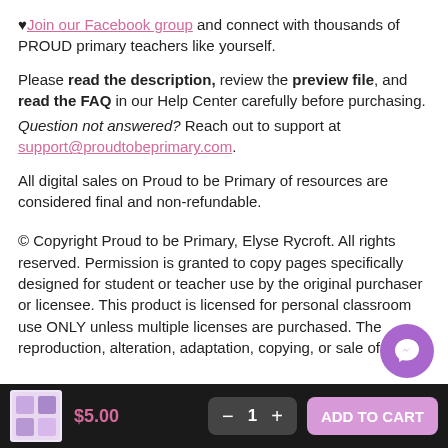♥Join our Facebook group and connect with thousands of PROUD primary teachers like yourself.
Please read the description, review the preview file, and read the FAQ in our Help Center carefully before purchasing.
Question not answered? Reach out to support at support@proudtobeprimary.com.
All digital sales on Proud to be Primary of resources are considered final and non-refundable.
© Copyright Proud to be Primary, Elyse Rycroft. All rights reserved. Permission is granted to copy pages specifically designed for student or teacher use by the original purchaser or licensee. This product is licensed for personal classroom use ONLY unless multiple licenses are purchased. The reproduction, alteration, adaptation, copying, or sale of
$5.00  — 1 +  ADD TO CART